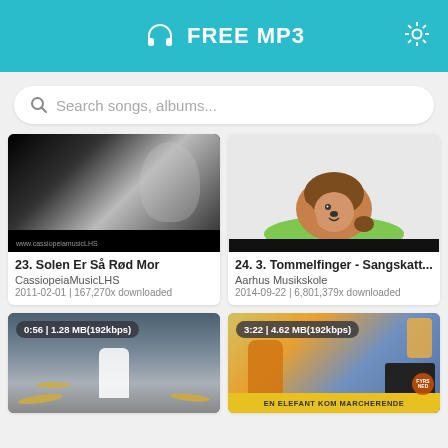FREE MP3
Search songs, albums...
[Figure (photo): Black and white photo of a woman smiling, touching her face, with a pearl necklace. Website watermark visible.]
23. Solen Er Så Rød Mor
CassiopeiaMusicLHS
2011-02-01 | 167,270x downloaded
[Figure (illustration): Cartoon illustration of a hedgehog raising one finger, standing on green grass.]
24. 3. Tommelfinger - Sangskatt...
Aarhus Musikskole
2014-09-22 | 6,801,379x downloaded
[Figure (photo): Photo of a person sitting behind a drum kit. Badge shows: 0:56 | 1.28 MB(192kbps)]
[Figure (photo): Photo of a person in colorful clothes near a piano with flowers. Text at bottom: EN ELEFANT KOM MARCHERENDE. Badge shows: 3:22 | 4.62 MB(192kbps)]